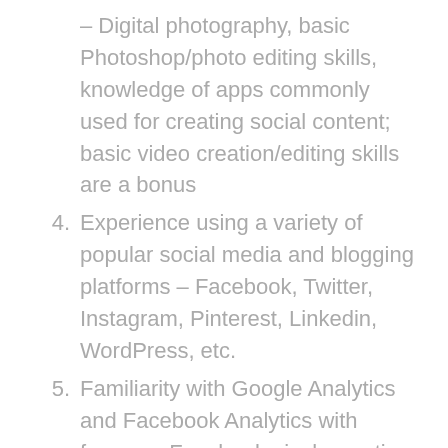– Digital photography, basic Photoshop/photo editing skills, knowledge of apps commonly used for creating social content; basic video creation/editing skills are a bonus
4. Experience using a variety of popular social media and blogging platforms – Facebook, Twitter, Instagram, Pinterest, Linkedin, WordPress, etc.
5. Familiarity with Google Analytics and Facebook Analytics with focus on Facebook pixel reporting
6. Ability to think on your feet and work independently with limited resources on multiple tasks being deadline driven
7. Creative and analytical skills with the ability to take direction well, learn/develop new